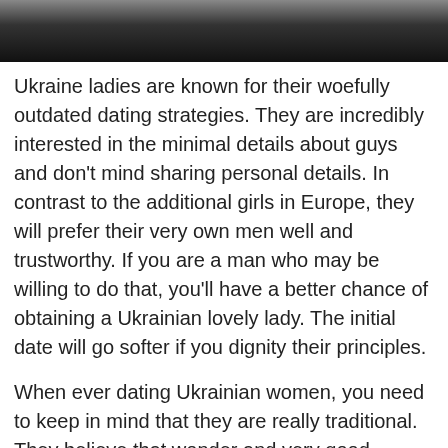[Figure (photo): Partial photo of people at the top of the page, cropped, dark background bar]
Ukraine ladies are known for their woefully outdated dating strategies. They are incredibly interested in the minimal details about guys and don't mind sharing personal details. In contrast to the additional girls in Europe, they will prefer their very own men well and trustworthy. If you are a man who may be willing to do that, you'll have a better chance of obtaining a Ukrainian lovely lady. The initial date will go softer if you dignity their principles.
When ever dating Ukrainian women, you need to keep in mind that they are really traditional. They believe that wonder and very good